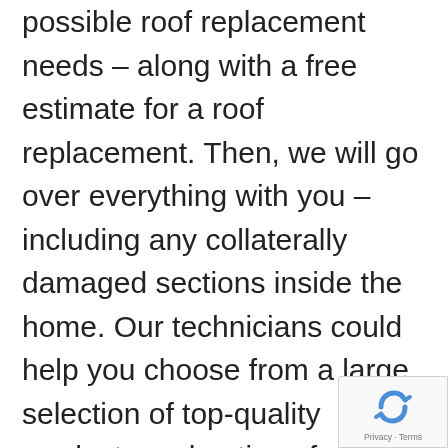possible roof replacement needs – along with a free estimate for a roof replacement. Then, we will go over everything with you – including any collaterally damaged sections inside the home. Our technicians could help you choose from a large selection of top-quality products and options for shingles, tiles, metal or flat roofing products. Not every roofing contractor in New York is licensed and insured. If you choose Expressway as your roofing
[Figure (logo): reCAPTCHA badge with rotating arrows icon and Privacy · Terms links]